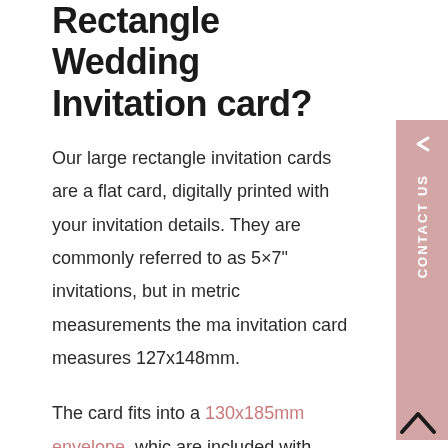Rectangle Wedding Invitation card?
Our large rectangle invitation cards are a flat card, digitally printed with your invitation details. They are commonly referred to as 5×7" invitations, but in metric measurements the main invitation card measures 127x148mm.
The card fits into a 130x185mm envelope, which are included with your wedding invitations.
I like this design but my wedding colours are different, can I change the